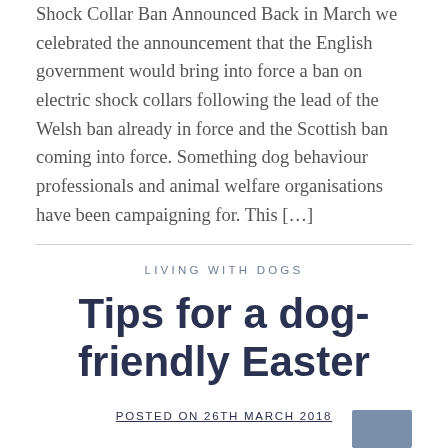Shock Collar Ban Announced Back in March we celebrated the announcement that the English government would bring into force a ban on electric shock collars following the lead of the Welsh ban already in force and the Scottish ban coming into force. Something dog behaviour professionals and animal welfare organisations have been campaigning for. This [...]
LIVING WITH DOGS
Tips for a dog-friendly Easter
POSTED ON 26TH MARCH 2018